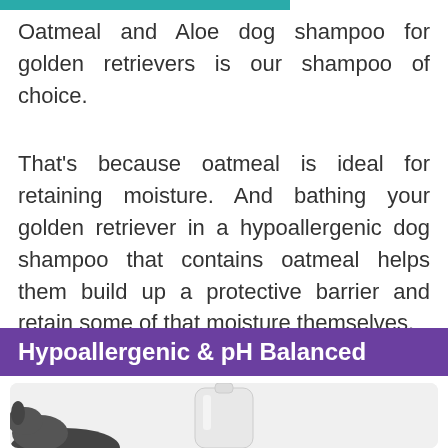Oatmeal and Aloe dog shampoo for golden retrievers is our shampoo of choice.
That's because oatmeal is ideal for retaining moisture. And bathing your golden retriever in a hypoallergenic dog shampoo that contains oatmeal helps them build up a protective barrier and retain some of that moisture themselves.
Hypoallergenic & pH Balanced
[Figure (photo): A white shampoo bottle partially visible at the bottom of the image, with what appears to be a dog silhouette at the bottom left, on a light gray card background.]